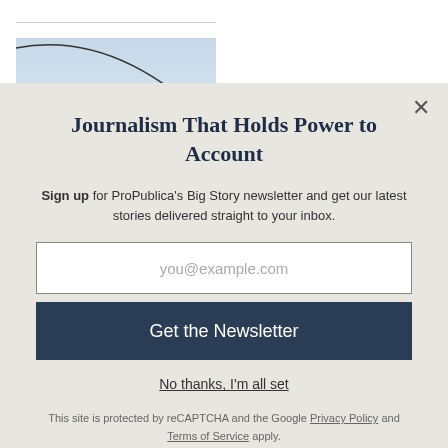[Figure (photo): Partial view of a photo showing a sky with a curved line/trajectory arc and desert landscape below]
Journalism That Holds Power to Account
Sign up for ProPublica's Big Story newsletter and get our latest stories delivered straight to your inbox.
you@example.com
Get the Newsletter
No thanks, I'm all set
This site is protected by reCAPTCHA and the Google Privacy Policy and Terms of Service apply.